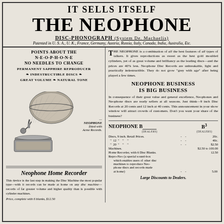IT SELLS ITSELF
THE NEOPHONE
DISC-PHONOGRAPH (System De. Machaelis)
Patented in U. S. A., U. K., France, Germany, Austria, Russia, Italy, Canada, India, Australia, Etc.
POINTS ABOUT THE N-E-O-P-H-O-N-E
NO NEEDLES TO CHANGE
PERMANENT SAPPHIRE REPRODUCER
INDESTRUCTIBLE DISCS
GREAT VOLUME  NATURAL TONE
[Figure (illustration): Illustration of a gramophone/phonograph with large horn, labeled 'NEOPHONE fitted with Acme Records.']
Neophone Home Recorder
This device is the last step in making the Disc Machine the most popular type—with it records can be made at home on any disc machine—records of far greater volume and higher quality than is possible with cylinder machines.
Price, complete with 6 blanks, $12.50
THE NEOPHONE is a combination of all the best features of all types of talkers. It gives reproductions as sweet as the best gold moulded cylinders, yet of as great volume and brilliancy as the leading discs—and the prices are 40% less. Neophone Disc Records are unbreakable, light and practically indestructible. They do not grow "grey with age" after being played a few times.
NEOPHONE BUSINESS IS BIG BUSINESS
In consequence of their great value and general excellence, Neophones and Neophone discs are ready sellers at all seasons. Just think—9 inch Disc Records at 20 cents and 12 inch at 40 cents. This announcement in your show window will attract crowds of customers. Don't you want your share of the business?
| NEOPHONE B___ | B3 | (DEALERS) | (DEALERS) |
| --- | --- | --- | --- |
| Discs, 9 inch. Retail Prices. | - | - | 20c. |
| "  12  "   "   " | - | - | 40c. |
| "  20  "   "   " | - | - | $2.50 |
| Machines. |  |  | $2.50 to 100.00 |
| Home Recorder, with 6 Disc Blanks. |  |  | 12.50 |
| Repro-Neo (a special sound-box which enables users of other disc machines to reproduce Neophone discs and records made at home) | - | - | 5.00 |
Large Discounts to Dealers.